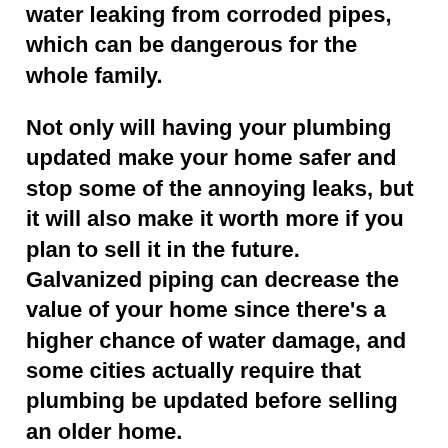water leaking from corroded pipes, which can be dangerous for the whole family.
Not only will having your plumbing updated make your home safer and stop some of the annoying leaks, but it will also make it worth more if you plan to sell it in the future. Galvanized piping can decrease the value of your home since there’s a higher chance of water damage, and some cities actually require that plumbing be updated before selling an older home.
If old pipes are not your concern, consider upgrading your home’s water heater to a tankless model. Tankless heaters only heat the water as needed, saving money on your energy bills, and they also outlast a traditional storage water heater by up to ten years.